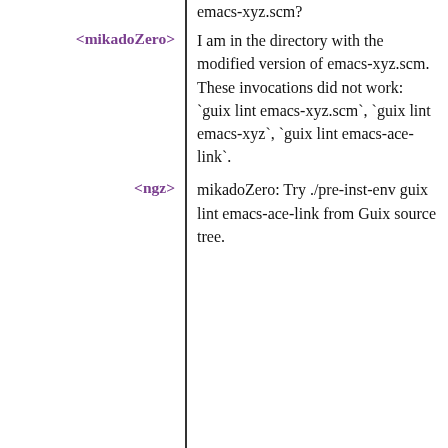emacs-xyz.scm?
<mikadoZero>  I am in the directory with the modified version of emacs-xyz.scm. These invocations did not work: `guix lint emacs-xyz.scm`, `guix lint emacs-xyz`, `guix lint emacs-ace-link`.
<ngz>  mikadoZero: Try ./pre-inst-env guix lint emacs-ace-link from Guix source tree.